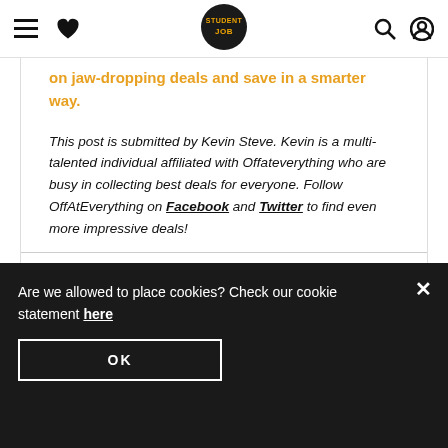StudentJob navigation bar with hamburger menu, heart icon, StudentJob logo, search icon, and account icon
on jaw-dropping deals and save in a smarter way.
This post is submitted by Kevin Steve. Kevin is a multi-talented individual affiliated with Offateverything who are busy in collecting best deals for everyone. Follow OffAtEverything on Facebook and Twitter to find even more impressive deals!
Share this article
[Figure (illustration): Social share icons: WhatsApp, Facebook, Twitter, LinkedIn]
Are we allowed to place cookies? Check our cookie statement here
OK